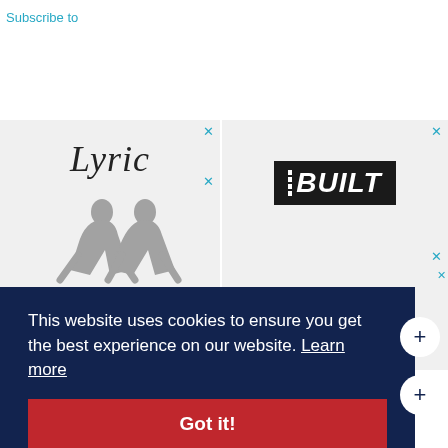Subscribe to
[Figure (logo): Lyric brand advertisement with italic serif logo text and silhouette figure]
[Figure (logo): BUILT brand logo in bold italic white text on dark background]
[Figure (logo): Cessna and Beechcraft by Textron Aviation logos]
This website uses cookies to ensure you get the best experience on our website. Learn more
Got it!